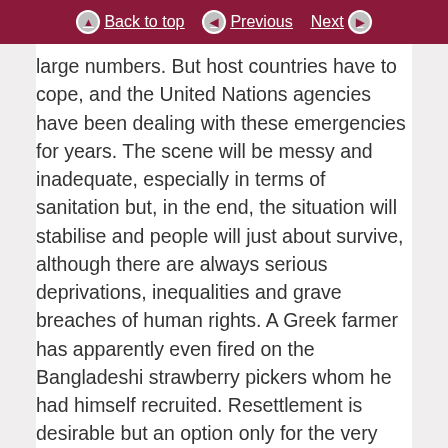Back to top | Previous | Next
large numbers. But host countries have to cope, and the United Nations agencies have been dealing with these emergencies for years. The scene will be messy and inadequate, especially in terms of sanitation but, in the end, the situation will stabilise and people will just about survive, although there are always serious deprivations, inequalities and grave breaches of human rights. A Greek farmer has apparently even fired on the Bangladeshi strawberry pickers whom he had himself recruited. Resettlement is desirable but an option only for the very few.
What is new to us is the surge of numbers across the Aegean and the Mediterranean. The refugees from Syria, we can expect, will be largely cared for in